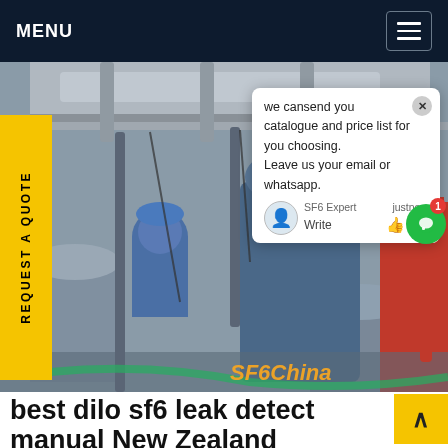MENU
[Figure (photo): Workers in blue hard hats and coveralls working on industrial SF6 gas equipment/pipes. A chat popup overlay reads: 'we can send you catalogue and price list for you choosing. Leave us your email or whatsapp.' SF6China watermark in orange.]
we cansend you catalogue and price list for you choosing. Leave us your email or whatsapp.
SF6 Expert   justnow
Write
REQUEST A QUOTE
SF6China
best dilo sf6 leak detect manual New Zealand